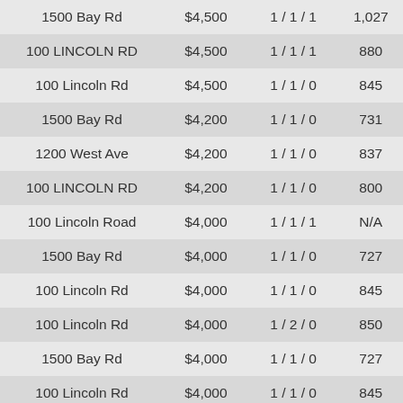| 1500 Bay Rd | $4,500 | 1 / 1 / 1 | 1,027 |
| 100 LINCOLN RD | $4,500 | 1 / 1 / 1 | 880 |
| 100 Lincoln Rd | $4,500 | 1 / 1 / 0 | 845 |
| 1500 Bay Rd | $4,200 | 1 / 1 / 0 | 731 |
| 1200 West Ave | $4,200 | 1 / 1 / 0 | 837 |
| 100 LINCOLN RD | $4,200 | 1 / 1 / 0 | 800 |
| 100 Lincoln Road | $4,000 | 1 / 1 / 1 | N/A |
| 1500 Bay Rd | $4,000 | 1 / 1 / 0 | 727 |
| 100 Lincoln Rd | $4,000 | 1 / 1 / 0 | 845 |
| 100 Lincoln Rd | $4,000 | 1 / 2 / 0 | 850 |
| 1500 Bay Rd | $4,000 | 1 / 1 / 0 | 727 |
| 100 Lincoln Rd | $4,000 | 1 / 1 / 0 | 845 |
| 90 Alton Rd | $4,000 | 1 / 1 / 0 | 740 |